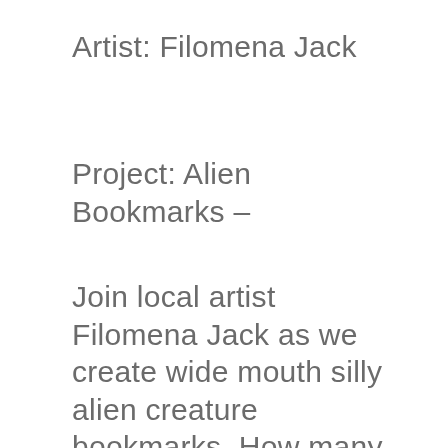Artist: Filomena Jack
Project: Alien Bookmarks –
Join local artist Filomena Jack as we create wide mouth silly alien creature bookmarks. How many eyes and ears will your alien friend have? These